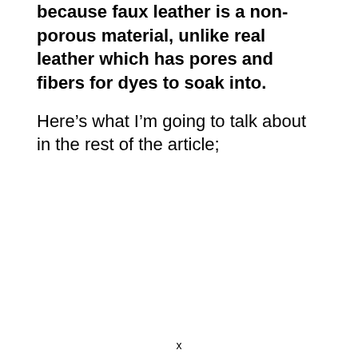because faux leather is a non-porous material, unlike real leather which has pores and fibers for dyes to soak into.
Here’s what I’m going to talk about in the rest of the article;
x